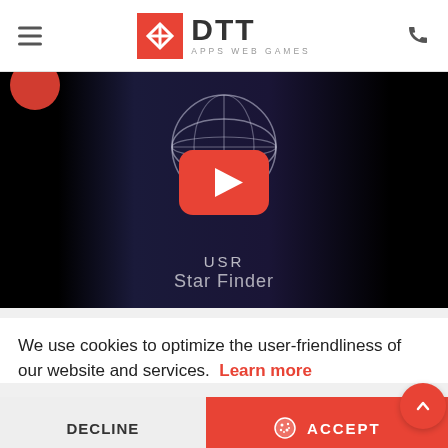DTT APPS WEB GAMES
[Figure (screenshot): Video thumbnail showing a dark background with a globe/network wireframe graphic, YouTube play button overlay, and text 'USR Star Finder']
We use cookies to optimize the user-friendliness of our website and services.  Learn more
DECLINE  ACCEPT